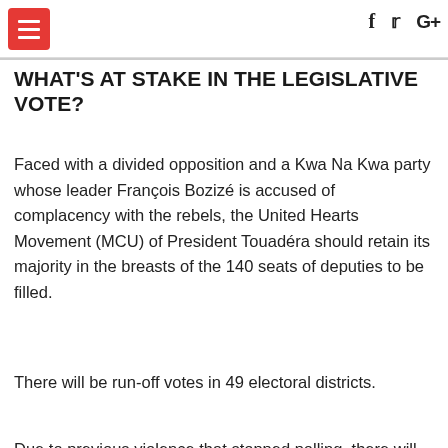Navigation bar with hamburger menu and social icons (Facebook, Twitter, Google+)
WHAT'S AT STAKE IN THE LEGISLATIVE VOTE?
Faced with a divided opposition and a Kwa Na Kwa party whose leader François Bozizé is accused of complacency with the rebels, the United Hearts Movement (MCU) of President Touadéra should retain its majority in the breasts of the 140 seats of deputies to be filled.
There will be run-off votes in 49 electoral districts.
Due to previous violence that stopped polling, there will be first-round voting in 69 districts.
[Figure (screenshot): Advertisement banner: Back To School Shopping Deals, Leesburg Premium Outlets, with a logo and a map/navigation icon]